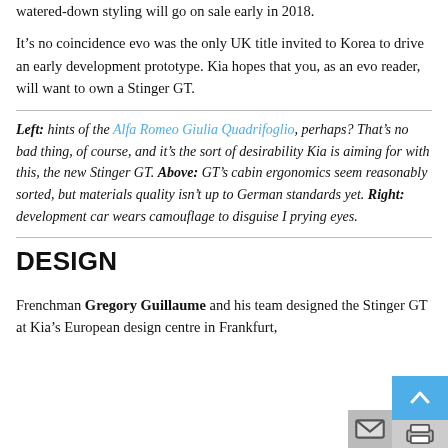watered-down styling will go on sale early in 2018.
It’s no coincidence evo was the only UK title invited to Korea to drive an early development prototype. Kia hopes that you, as an evo reader, will want to own a Stinger GT.
Left: hints of the Alfa Romeo Giulia Quadrifoglio, perhaps? That’s no bad thing, of course, and it’s the sort of desirability Kia is aiming for with this, the new Stinger GT. Above: GT’s cabin ergonomics seem reasonably sorted, but materials quality isn’t up to German standards yet. Right: development car wears camouflage to disguise I prying eyes.
DESIGN
Frenchman Gregory Guillaume and his team designed the Stinger GT at Kia’s European design centre in Frankfurt,